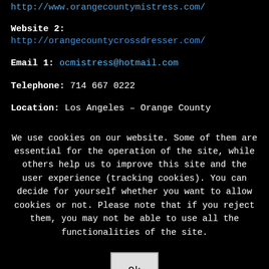Website 1: http://www.orangecountymistress.com/
Website 2: http://orangecountycrossdresser.com/
Email 1: ocmistress@hotmail.com
Telephone: 714 667 0222
Location: Los Angeles – Orange County
We use cookies on our website. Some of them are essential for the operation of the site, while others help us to improve this site and the user experience (tracking cookies). You can decide for yourself whether you want to allow cookies or not. Please note that if you reject them, you may not be able to use all the functionalities of the site.
Ok